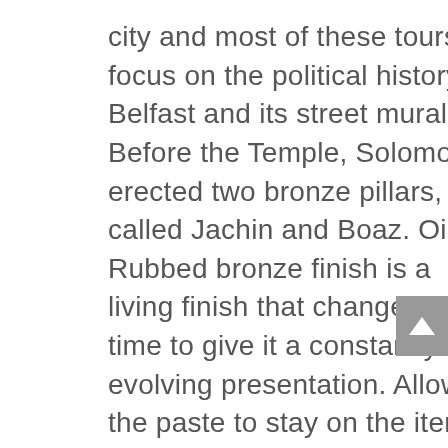city and most of these tours focus on the political history of Belfast and its street murals. Before the Temple, Solomon erected two bronze pillars, called Jachin and Boaz. Oil-Rubbed bronze finish is a living finish that changes over time to give it a constantly evolving presentation. Allow the paste to stay on the item for 20 to 30 minutes. History: Brass was first known to exist in about 500 BC. The Marvin Signature ™ Ultimate Tilt Turn window is a European-style window with two distinct functions: swing it in like a door or tilt the top of the sash into your room for ventilation. Let the paste remain on the bronze for an hour or more. These luxury iron front doors or wine cellar doors also feature operative glass panels opening independently from the door panels. Bronze Doors of Bishop Bernward,c.1015CE. The doors of the Holy of Holies were of olive-wood. We offer the more affordable cold cast bronze (resin and bronze powder) and many pieces crafted from solid bronze metal. You